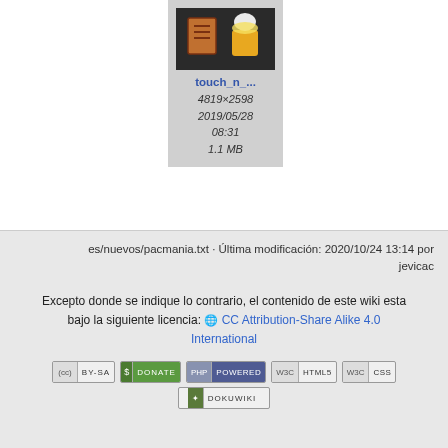[Figure (screenshot): Thumbnail preview of an image file showing a dark background with an orange book icon and a beer mug icon]
touch_n_...
4819×2598
2019/05/28
08:31
1.1 MB
es/nuevos/pacmania.txt · Última modificación: 2020/10/24 13:14 por jevicac
Excepto donde se indique lo contrario, el contenido de este wiki esta bajo la siguiente licencia:  CC Attribution-Share Alike 4.0 International
[Figure (logo): Row of badges: CC BY-SA, Donate, PHP Powered, W3C HTML5, W3C CSS, DokuWiki]